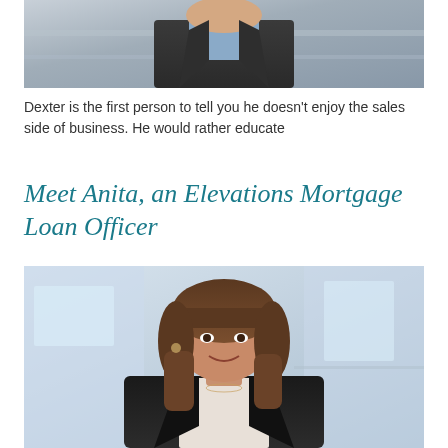[Figure (photo): Professional headshot of a man in a dark suit with a blue shirt, photographed against a blurred office background with stairs]
Dexter is the first person to tell you he doesn't enjoy the sales side of business. He would rather educate
Meet Anita, an Elevations Mortgage Loan Officer
[Figure (photo): Professional headshot of a woman with medium-length brown hair and bangs, wearing a black blazer and necklace, smiling warmly against a blurred modern building background]